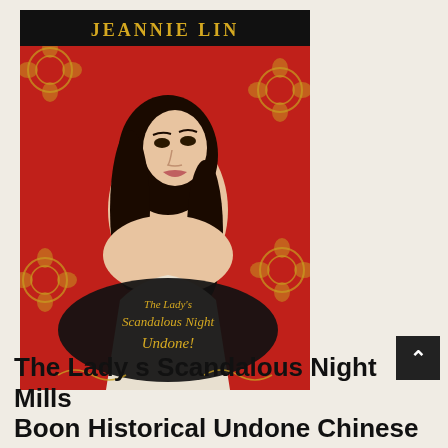[Figure (illustration): Book cover for 'The Lady's Scandalous Night Undone!' by Jeannie Lin. Red background with ornate gold floral patterns. A young Asian woman with long dark curly hair, bare shoulders, looks back over her shoulder. Author name 'JEANNIE LIN' in gold serif letters on black banner at top. Title text in ornate gold script on black oval: 'The Lady's Scandalous Night Undone!']
The Lady s Scandalous Night Mills Boon Historical Undone Chinese